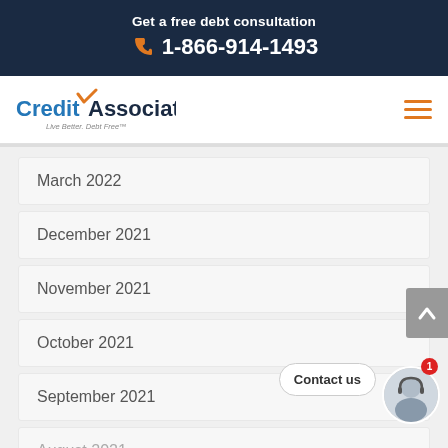Get a free debt consultation 1-866-914-1493
[Figure (logo): CreditAssociates logo with tagline 'Live Better. Debt Free']
March 2022
December 2021
November 2021
October 2021
September 2021
August 2021